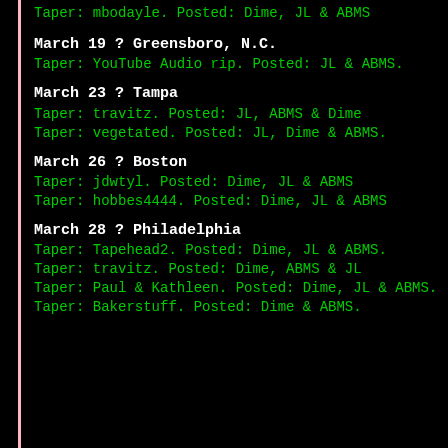Taper: mbodayle. Posted: Dime, JL & ABMS
March 19 ? Greensboro, N.C.
Taper: YouTube Audio rip. Posted: JL & ABMS.
March 23 ? Tampa
Taper: travitz. Posted: JL, ABMS & Dime
Taper: vegetated. Posted: JL, Dime & ABMS.
March 26 ? Boston
Taper: jdwtyl. Posted: Dime, JL & ABMS
Taper: hobbes4444. Posted: Dime, JL & ABMS
March 28 ? Philadelphia
Taper: Tapehead2. Posted: Dime, JL & ABMS.
Taper: travitz. Posted: Dime, ABMS & JL
Taper: Paul & Kathleen. Posted: Dime, JL & ABMS.
Taper: Bakerstuff. Posted: Dime & ABMS.